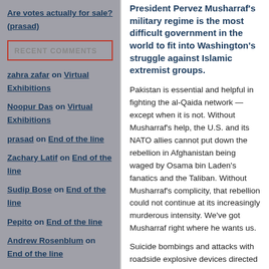Are votes actually for sale? (prasad)
RECENT COMMENTS
zahra zafar on Virtual Exhibitions
Noopur Das on Virtual Exhibitions
prasad on End of the line
Zachary Latif on End of the line
Sudip Bose on End of the line
Pepito on End of the line
Andrew Rosenblum on End of the line
Saba Joshi on End of the line
President Pervez Musharraf's military regime is the most difficult government in the world to fit into Washington's struggle against Islamic extremist groups.
Pakistan is essential and helpful in fighting the al-Qaida network — except when it is not. Without Musharraf's help, the U.S. and its NATO allies cannot put down the rebellion in Afghanistan being waged by Osama bin Laden's fanatics and the Taliban. Without Musharraf's complicity, that rebellion could not continue at its increasingly murderous intensity. We've got Musharraf right where he wants us.
Suicide bombings and attacks with roadside explosive devices directed at U.S. and NATO troops as well as Afghan authorities have spiked upward in recent months. U.S.